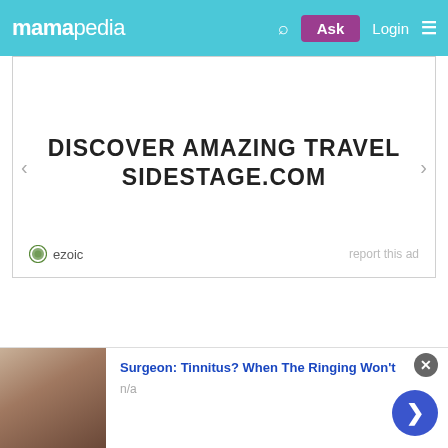mamapedia | Ask | Login
[Figure (screenshot): Advertisement banner with text 'DISCOVER AMAZING TRAVEL SIDESTAGE.COM' and ezoic badge, with navigation arrows and 'report this ad' link]
© 2022 Mamapedia
Blog | Home | About | Sitemap | Terms & Conditions | Privacy Policy | Contact Us
[Figure (screenshot): Bottom ad banner: photo of a person, text 'Surgeon: Tinnitus? When The Ringing Won't', subtext 'n/a', with close button and forward arrow]